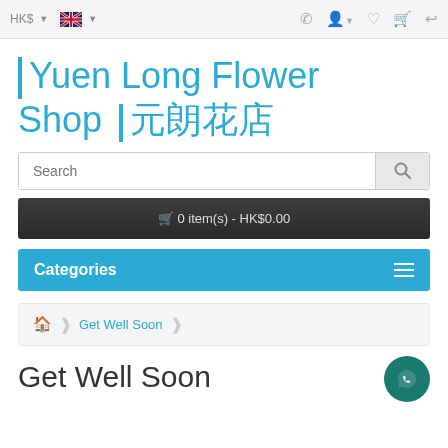HK$ ▾  🇬🇧 ▾  ☎  👤▾  ♥  🛒  ↪
| Yuen Long Flower Shop | 元朗花店
Search
🛒 0 item(s) - HK$0.00
Categories
🏠 > Get Well Soon >
Get Well Soon